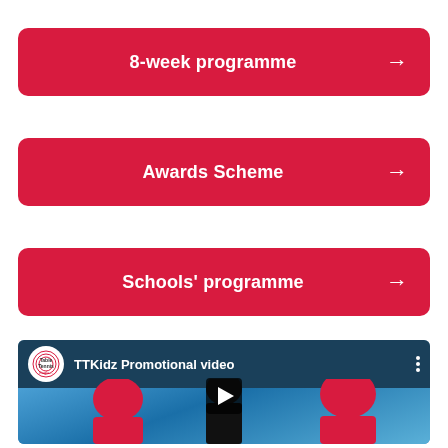8-week programme →
Awards Scheme →
Schools' programme →
[Figure (screenshot): YouTube-style video thumbnail showing TTKidz Promotional video with Table Tennis England logo and children in red shirts playing table tennis. Includes a play button in the center.]